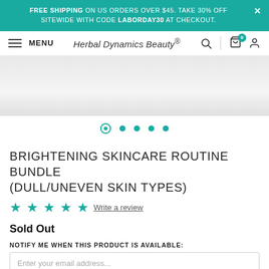FREE SHIPPING ON US ORDERS OVER $45. TAKE 30% OFF SITEWIDE WITH CODE LABORDAY30 AT CHECKOUT.
MENU | Herbal Dynamics Beauty®
[Figure (photo): Product image area with carousel dots navigation showing 5 dots, first dot active]
BRIGHTENING SKINCARE ROUTINE BUNDLE (DULL/UNEVEN SKIN TYPES)
★★★★★ Write a review
Sold Out
NOTIFY ME WHEN THIS PRODUCT IS AVAILABLE:
Enter your email address...